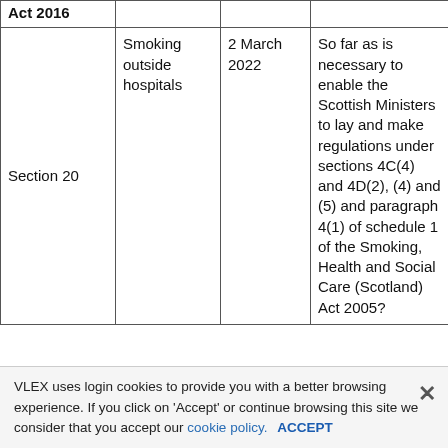| Act 2016 |  |  |  |
| --- | --- | --- | --- |
| Section 20 | Smoking outside hospitals | 2 March 2022 | So far as is necessary to enable the Scottish Ministers to lay and make regulations under sections 4C(4) and 4D(2), (4) and (5) and paragraph 4(1) of schedule 1 of the Smoking, Health and Social Care (Scotland) Act 2005? |
VLEX uses login cookies to provide you with a better browsing experience. If you click on 'Accept' or continue browsing this site we consider that you accept our cookie policy. ACCEPT